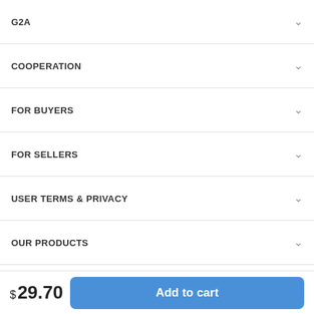G2A
COOPERATION
FOR BUYERS
FOR SELLERS
USER TERMS & PRIVACY
OUR PRODUCTS
[Figure (other): Social media icons row: G2A icon links (x4), Twitter circle icon, LinkedIn circle icon, Reddit circle icon]
Install the G2A app
$ 29.70  Add to cart